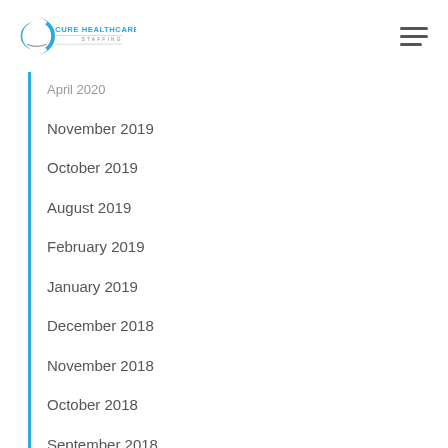Cure Healthcare Staffing
April 2020
November 2019
October 2019
August 2019
February 2019
January 2019
December 2018
November 2018
October 2018
September 2018
August 2018
July 2018
June 2018